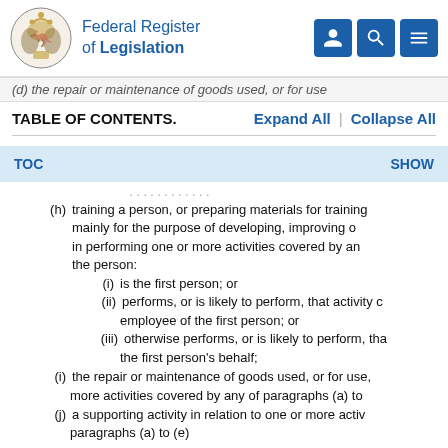Federal Register of Legislation
(d) the repair or maintenance of goods used, or for use
TABLE OF CONTENTS.    Expand All  |  Collapse All
TOC    SHOW
(h) training a person, or preparing materials for training mainly for the purpose of developing, improving or in performing one or more activities covered by an the person:
(i) is the first person; or
(ii) performs, or is likely to perform, that activity o employee of the first person; or
(iii) otherwise performs, or is likely to perform, tha the first person's behalf;
(i) the repair or maintenance of goods used, or for use, more activities covered by any of paragraphs (a) to
(j) a supporting activity in relation to one or more activ paragraphs (a) to (e)